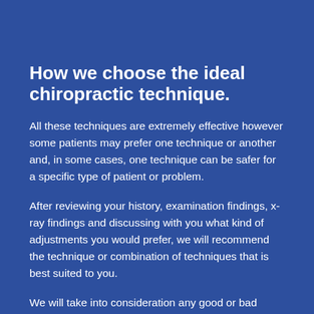How we choose the ideal chiropractic technique.
All these techniques are extremely effective however some patients may prefer one technique or another and, in some cases, one technique can be safer for a specific type of patient or problem.
After reviewing your history, examination findings, x-ray findings and discussing with you what kind of adjustments you would prefer, we will recommend the technique or combination of techniques that is best suited to you.
We will take into consideration any good or bad experiences you have had in the past with different chiropractic techniques.